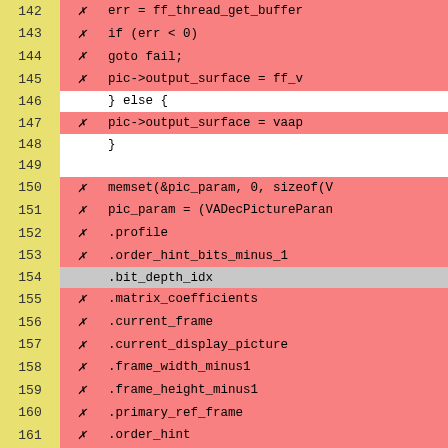| Line | Mark | Code |
| --- | --- | --- |
| 142 | ✗ | err = ff_thread_get_buffer |
| 143 | ✗ | if (err < 0) |
| 144 | ✗ |     goto fail; |
| 145 | ✗ | pic->output_surface = ff_v |
| 146 |  | } else { |
| 147 | ✗ |     pic->output_surface = vaap |
| 148 |  | } |
| 149 |  |  |
| 150 | ✗ | memset(&pic_param, 0, sizeof(V |
| 151 | ✗ | pic_param = (VADecPictureParan |
| 152 | ✗ |     .profile |
| 153 | ✗ |     .order_hint_bits_minus_1 |
| 154 |  |     .bit_depth_idx |
| 155 | ✗ |     .matrix_coefficients |
| 156 | ✗ |     .current_frame |
| 157 | ✗ |     .current_display_picture |
| 158 | ✗ |     .frame_width_minus1 |
| 159 | ✗ |     .frame_height_minus1 |
| 160 | ✗ |     .primary_ref_frame |
| 161 | ✗ |     .order_hint |
| 162 | ✗ |     .tile_cols |
| 163 | ✗ |     .tile_rows |
| 164 | ✗ |     .context_update_tile_id |
| 165 | ✗ |     .superres_scale_denominato |
| 166 | ✗ |  |